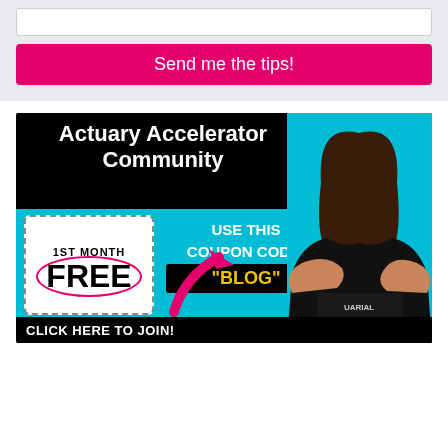[Figure (other): Input text field (white box) for email subscription form]
Send me the tips!
[Figure (infographic): Actuary Accelerator Community advertisement banner. Black top bar with white bold text 'Actuary Accelerator Community'. Below on cyan background: a dashed coupon box showing '1ST MONTH FREE' with scissors icon and pink oval around FREE. To the right: 'USE THIS COUPON CODE:' with black box showing yellow text '"BLOG"'. A pink arrow points up-right toward the coupon area. Bottom black bar reads 'CLICK HERE TO JOIN!' in white bold text. Right side shows a woman with brown hair pointing at the viewer, wearing a black shirt.]